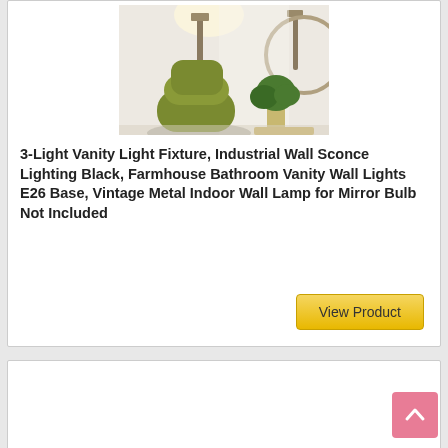[Figure (photo): Product photo of a 3-light vanity wall sconce in a room setting with a green velvet chair and plant]
3-Light Vanity Light Fixture, Industrial Wall Sconce Lighting Black, Farmhouse Bathroom Vanity Wall Lights E26 Base, Vintage Metal Indoor Wall Lamp for Mirror Bulb Not Included
View Product
[Figure (other): Scroll to top button (pink arrow up button) and bottom card (empty)]